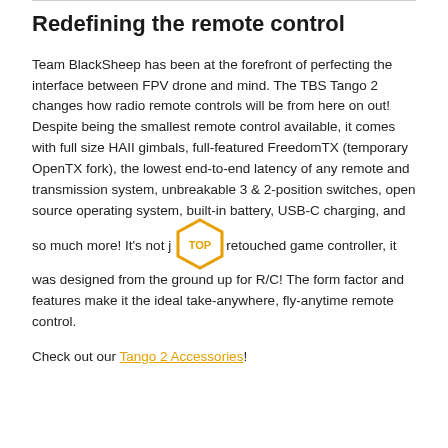Redefining the remote control
Team BlackSheep has been at the forefront of perfecting the interface between FPV drone and mind. The TBS Tango 2 changes how radio remote controls will be from here on out! Despite being the smallest remote control available, it comes with full size HAII gimbals, full-featured FreedomTX (temporary OpenTX fork), the lowest end-to-end latency of any remote and transmission system, unbreakable 3 & 2-position switches, open source operating system, built-in battery, USB-C charging, and so much more! It's not just a retouched game controller, it was designed from the ground up for R/C! The form factor and features make it the ideal take-anywhere, fly-anytime remote control.
Check out our Tango 2 Accessories!